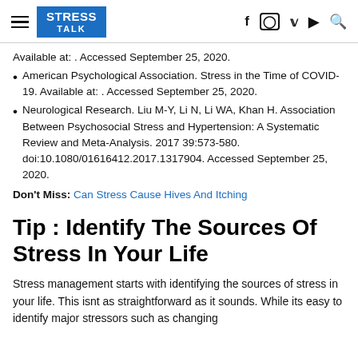STRESS TALK
Available at: . Accessed September 25, 2020.
American Psychological Association. Stress in the Time of COVID-19. Available at: . Accessed September 25, 2020.
Neurological Research. Liu M-Y, Li N, Li WA, Khan H. Association Between Psychosocial Stress and Hypertension: A Systematic Review and Meta-Analysis. 2017 39:573-580. doi:10.1080/01616412.2017.1317904. Accessed September 25, 2020.
Don't Miss: Can Stress Cause Hives And Itching
Tip : Identify The Sources Of Stress In Your Life
Stress management starts with identifying the sources of stress in your life. This isnt as straightforward as it sounds. While its easy to identify major stressors such as changing